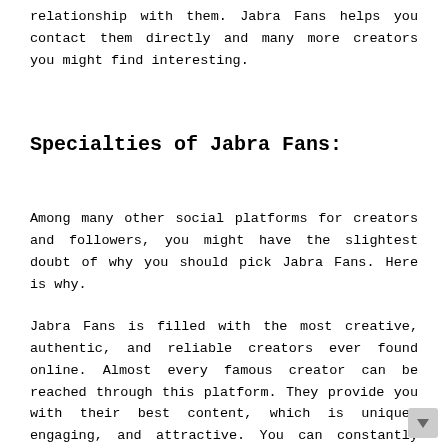relationship with them. Jabra Fans helps you contact them directly and many more creators you might find interesting.
Specialties of Jabra Fans:
Among many other social platforms for creators and followers, you might have the slightest doubt of why you should pick Jabra Fans. Here is why.
Jabra Fans is filled with the most creative, authentic, and reliable creators ever found online. Almost every famous creator can be reached through this platform. They provide you with their best content, which is unique, engaging, and attractive. You can constantly interact with the creators in case of any doubts and queries; you will always be welcome.